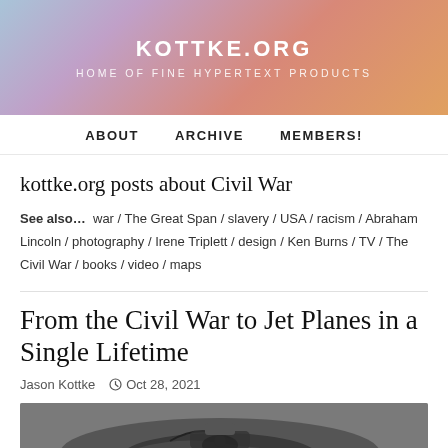KOTTKE.ORG
HOME OF FINE HYPERTEXT PRODUCTS
ABOUT   ARCHIVE   MEMBERS!
kottke.org posts about Civil War
See also...  war / The Great Span / slavery / USA / racism / Abraham Lincoln / photography / Irene Triplett / design / Ken Burns / TV / The Civil War / books / video / maps
From the Civil War to Jet Planes in a Single Lifetime
Jason Kottke   Oct 28, 2021
[Figure (photo): Black and white photograph of an aircraft cockpit, partially visible at the bottom of the page]